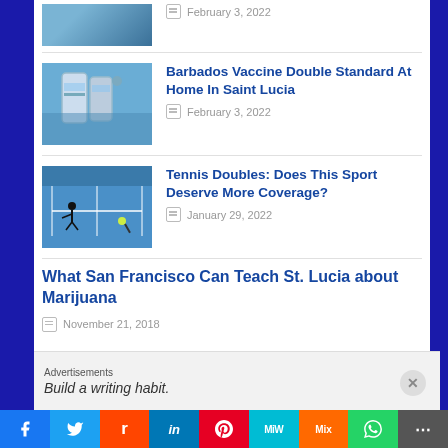February 3, 2022
Barbados Vaccine Double Standard At Home In Saint Lucia
February 3, 2022
Tennis Doubles: Does This Sport Deserve More Coverage?
January 29, 2022
What San Francisco Can Teach St. Lucia about Marijuana
November 21, 2018
Advertisements
Build a writing habit.
Social share bar: Facebook, Twitter, Reddit, LinkedIn, Pinterest, MiW, Mix, WhatsApp, Share